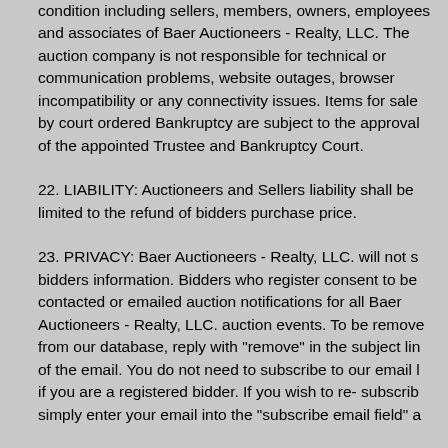condition including sellers, members, owners, employees and associates of Baer Auctioneers - Realty, LLC. The auction company is not responsible for technical or communication problems, website outages, browser incompatibility or any connectivity issues. Items for sale by court ordered Bankruptcy are subject to the approval of the appointed Trustee and Bankruptcy Court.
22. LIABILITY: Auctioneers and Sellers liability shall be limited to the refund of bidders purchase price.
23. PRIVACY: Baer Auctioneers - Realty, LLC. will not s bidders information. Bidders who register consent to be contacted or emailed auction notifications for all Baer Auctioneers - Realty, LLC. auction events. To be removed from our database, reply with "remove" in the subject line of the email. You do not need to subscribe to our email list if you are a registered bidder. If you wish to re- subscribe simply enter your email into the "subscribe email field" a